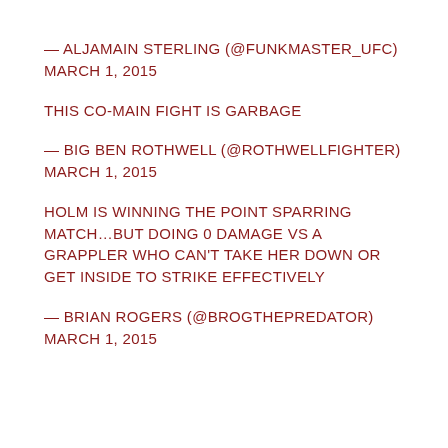— ALJAMAIN STERLING (@FUNKMASTER_UFC) MARCH 1, 2015
THIS CO-MAIN FIGHT IS GARBAGE
— BIG BEN ROTHWELL (@ROTHWELLFIGHTER) MARCH 1, 2015
HOLM IS WINNING THE POINT SPARRING MATCH…BUT DOING 0 DAMAGE VS A GRAPPLER WHO CAN'T TAKE HER DOWN OR GET INSIDE TO STRIKE EFFECTIVELY
— BRIAN ROGERS (@BROGTHEPREDATOR) MARCH 1, 2015